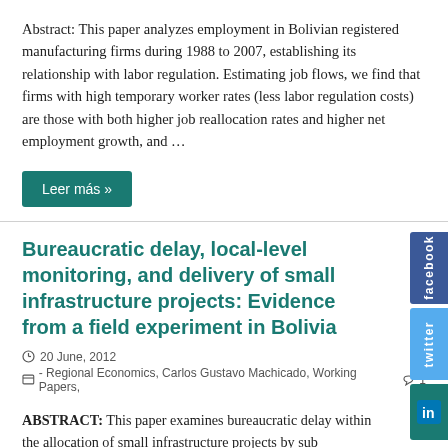Abstract: This paper analyzes employment in Bolivian registered manufacturing firms during 1988 to 2007, establishing its relationship with labor regulation. Estimating job flows, we find that firms with high temporary worker rates (less labor regulation costs) are those with both higher job reallocation rates and higher net employment growth, and …
Leer más »
Bureaucratic delay, local-level monitoring, and delivery of small infrastructure projects: Evidence from a field experiment in Bolivia
20 June, 2012
- Regional Economics, Carlos Gustavo Machicado, Working Papers,   1
ABSTRACT: This paper examines bureaucratic delay within the allocation of small infrastructure projects by sub municipal governments in Bolivia, and it presents a randomized eld experiment designed to improve public service delivery by promoting voice